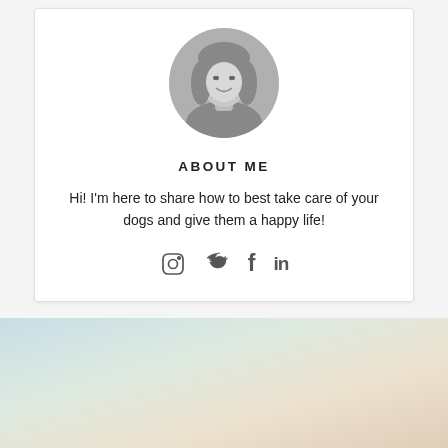[Figure (photo): Circular black and white profile photo of a smiling woman with long hair]
ABOUT ME
Hi! I'm here to share how to best take care of your dogs and give them a happy life!
[Figure (infographic): Social media icons: Instagram, Twitter, Facebook, LinkedIn]
[Figure (photo): Soft gradient background in blues, greens and tans at the bottom of the page]